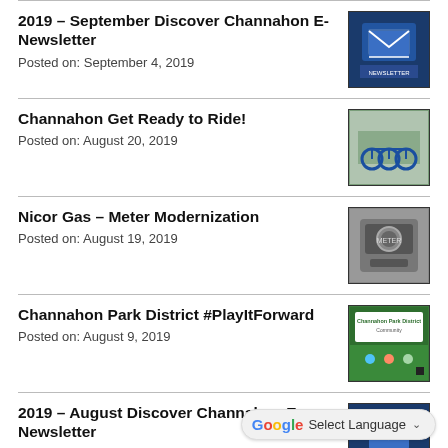2019 - September Discover Channahon E-Newsletter
Posted on: September 4, 2019
Channahon Get Ready to Ride!
Posted on: August 20, 2019
Nicor Gas - Meter Modernization
Posted on: August 19, 2019
Channahon Park District #PlayItForward
Posted on: August 9, 2019
2019 - August Discover Channahon E-Newsletter
Posted on: August 1, 2019